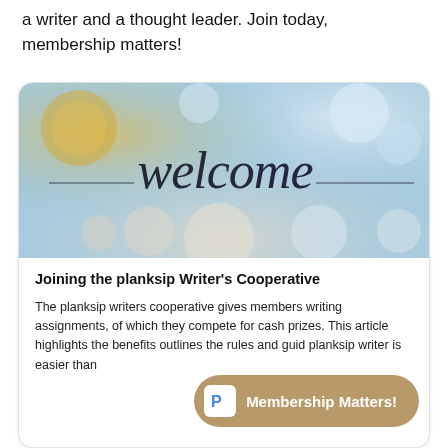a writer and a thought leader. Join today, membership matters!
[Figure (photo): A blurred bokeh background image with the word 'welcome' written in cursive script across the center.]
Joining the planksip Writer's Cooperative
The planksip writers cooperative gives members writing assignments, of which they compete for cash prizes. This article highlights the benefits outlines the rules and guid planksip writer is easier than
Membership Matters!